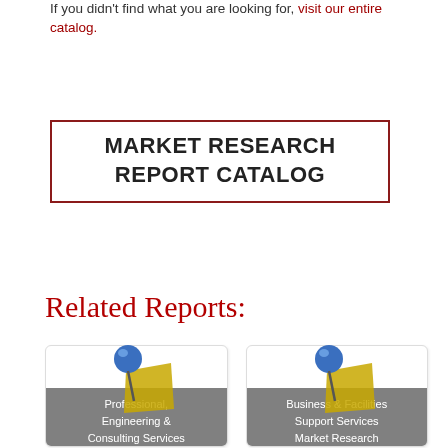If you didn't find what you are looking for, visit our entire catalog.
MARKET RESEARCH REPORT CATALOG
Related Reports:
[Figure (illustration): Card with blue pushpin icon and yellow sticky note. Label reads: Professional, Engineering & Consulting Services Market Research...]
[Figure (illustration): Card with blue pushpin icon and yellow sticky note. Label reads: Business & Facilities Support Services Market Research Reports]